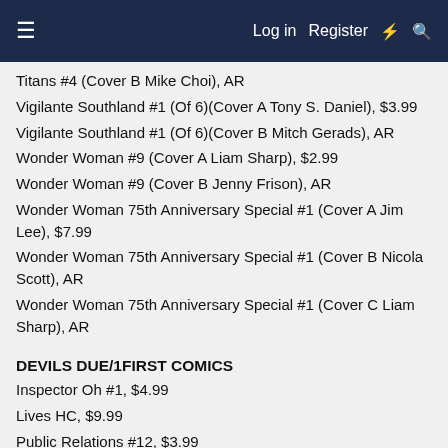≡  Log in  Register  ⚡  🔍
Titans #4 (Cover B Mike Choi), AR
Vigilante Southland #1 (Of 6)(Cover A Tony S. Daniel), $3.99
Vigilante Southland #1 (Of 6)(Cover B Mitch Gerads), AR
Wonder Woman #9 (Cover A Liam Sharp), $2.99
Wonder Woman #9 (Cover B Jenny Frison), AR
Wonder Woman 75th Anniversary Special #1 (Cover A Jim Lee), $7.99
Wonder Woman 75th Anniversary Special #1 (Cover B Nicola Scott), AR
Wonder Woman 75th Anniversary Special #1 (Cover C Liam Sharp), AR
DEVILS DUE/1FIRST COMICS
Inspector Oh #1, $4.99
Lives HC, $9.99
Public Relations #12, $3.99
Serving Supes #5, $4.99
DIAMOND PUBLICATIONS